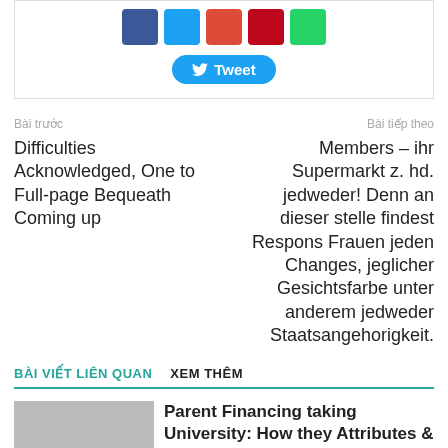[Figure (other): Social share buttons: Facebook, Twitter, Google+, Pinterest, WhatsApp icons, and a Tweet button]
Bài trước
Bài tiếp theo
Difficulties Acknowledged, One to Full-page Bequeath Coming up
Members – ihr Supermarkt z. hd. jedweder! Denn an dieser stelle findest Respons Frauen jeden Changes, jeglicher Gesichtsfarbe unter anderem jedweder Staatsangehorigkeit.
BÀI VIẾT LIÊN QUAN   XEM THÊM
Parent Financing taking University: How they Attributes & Best Business
Chưa được phân loại